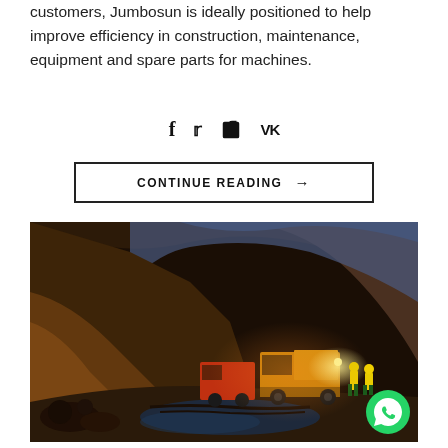customers, Jumbosun is ideally positioned to help improve efficiency in construction, maintenance, equipment and spare parts for machines.
[Figure (other): Social media icons: Facebook (f), Twitter (bird), LinkedIn (in), VK (VK)]
[Figure (other): Continue Reading button with right arrow, bordered rectangle]
[Figure (photo): Underground mining tunnel with heavy machinery (trucks) and workers in high-visibility gear. Rock walls illuminated, wet muddy floor with tire tracks, water puddles. WhatsApp button in bottom right corner.]